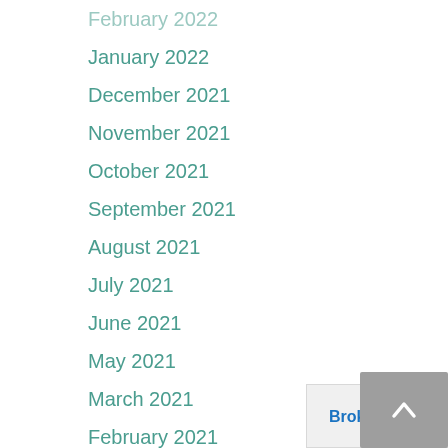February 2022
January 2022
December 2021
November 2021
October 2021
September 2021
August 2021
July 2021
June 2021
May 2021
March 2021
February 2021
January 2021
June 2020
April 2020
[Figure (logo): BrokerCheck by FINRA logo in a light grey box]